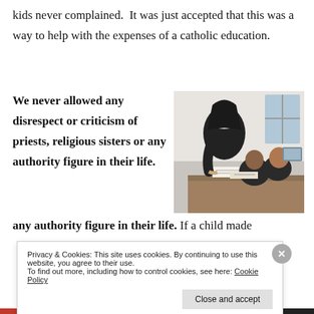kids never complained.  It was just accepted that this was a way to help with the expenses of a catholic education.
We never allowed any disrespect or criticism of priests, religious sisters or any authority figure in their life. If a child made
[Figure (photo): A nun in black and white habit leaning over a student at a desk, pointing at papers, in a classroom or office setting.]
Privacy & Cookies: This site uses cookies. By continuing to use this website, you agree to their use. To find out more, including how to control cookies, see here: Cookie Policy